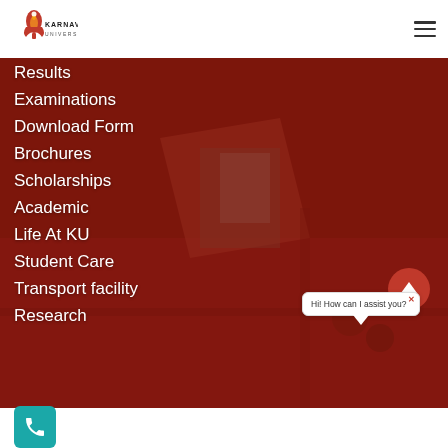[Figure (logo): Karnavati University logo with flame icon and text KARNAVATI UNIVERSITY]
[Figure (photo): Aerial reddish-toned campus photo with dark red overlay serving as menu background]
Results
Examinations
Download Form
Brochures
Scholarships
Academic
Life At KU
Student Care
Transport facility
Research
Hi! How can I assist you?
[Figure (other): Teal phone call button in bottom left corner]
[Figure (other): Red scroll-to-top button with upward arrow]